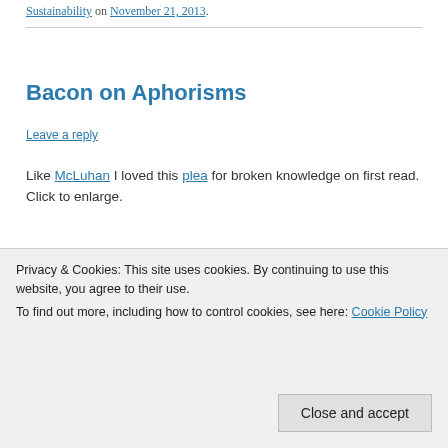Sustainability on November 21, 2013.
Bacon on Aphorisms
Leave a reply
Like McLuhan I loved this plea for broken knowledge on first read. Click to enlarge.
[Figure (photo): Black and white photo strip, partially visible]
Privacy & Cookies: This site uses cookies. By continuing to use this website, you agree to their use.
To find out more, including how to control cookies, see here: Cookie Policy
Close and accept